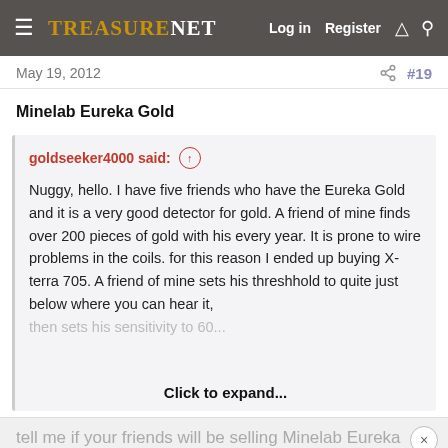TreasureNet  Log in  Register
May 19, 2012  #19
Minelab Eureka Gold
goldseeker4000 said: Nuggy, hello. I have five friends who have the Eureka Gold and it is a very good detector for gold. A friend of mine finds over 200 pieces of gold with his every year. It is prone to wire problems in the coils. for this reason I ended up buying X-terra 705. A friend of mine sets his threshhold to quite just below where you can hear it, Click to expand...
tell me if your friends will be selling Minelab Eureka